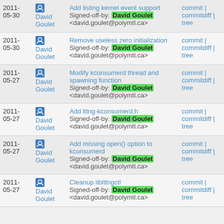| Date | Author | Commit message | Links |
| --- | --- | --- | --- |
| 2011-05-30 | David Goulet | Add listing kernel event support
Signed-off-by: David Goulet <david.goulet@polymtl.ca> | commit | commitdiff | tree |
| 2011-05-30 | David Goulet | Remove useless zero initialization
Signed-off-by: David Goulet <david.goulet@polymtl.ca> | commit | commitdiff | tree |
| 2011-05-27 | David Goulet | Modify kconsumerd thread and spawning function
Signed-off-by: David Goulet <david.goulet@polymtl.ca> | commit | commitdiff | tree |
| 2011-05-27 | David Goulet | Add lttng-kconsumerd.h
Signed-off-by: David Goulet <david.goulet@polymtl.ca> | commit | commitdiff | tree |
| 2011-05-27 | David Goulet | Add missing open() option to kconsumerd
Signed-off-by: David Goulet <david.goulet@polymtl.ca> | commit | commitdiff | tree |
| 2011-05-27 | David Goulet | Cleanup liblttngctl
Signed-off-by: David Goulet <david.goulet@polymtl.ca> | commit | commitdiff | tree |